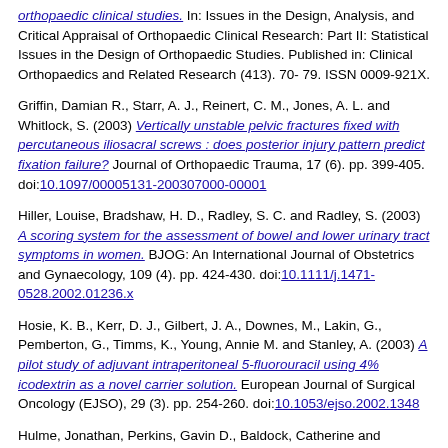orthopaedic clinical studies. In: Issues in the Design, Analysis, and Critical Appraisal of Orthopaedic Clinical Research: Part II: Statistical Issues in the Design of Orthopaedic Studies. Published in: Clinical Orthopaedics and Related Research (413). 70- 79. ISSN 0009-921X.
Griffin, Damian R., Starr, A. J., Reinert, C. M., Jones, A. L. and Whitlock, S. (2003) Vertically unstable pelvic fractures fixed with percutaneous iliosacral screws : does posterior injury pattern predict fixation failure? Journal of Orthopaedic Trauma, 17 (6). pp. 399-405. doi:10.1097/00005131-200307000-00001
Hiller, Louise, Bradshaw, H. D., Radley, S. C. and Radley, S. (2003) A scoring system for the assessment of bowel and lower urinary tract symptoms in women. BJOG: An International Journal of Obstetrics and Gynaecology, 109 (4). pp. 424-430. doi:10.1111/j.1471-0528.2002.01236.x
Hosie, K. B., Kerr, D. J., Gilbert, J. A., Downes, M., Lakin, G., Pemberton, G., Timms, K., Young, Annie M. and Stanley, A. (2003) A pilot study of adjuvant intraperitoneal 5-fluorouracil using 4% icodextrin as a novel carrier solution. European Journal of Surgical Oncology (EJSO), 29 (3). pp. 254-260. doi:10.1053/ejso.2002.1348
Hulme, Jonathan, Perkins, Gavin D., Baldock, Catherine and MacNamara, Aidan (2003) Use of advanced life support skills. Resuscitation, 58 (1). pp. 59-63. doi:10.1016/S0300-9572(03)00101-1